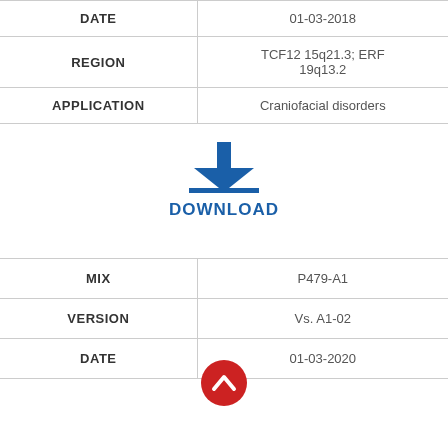|  |  |
| --- | --- |
| DATE | 01-03-2018 |
| REGION | TCF12 15q21.3; ERF 19q13.2 |
| APPLICATION | Craniofacial disorders |
[Figure (infographic): Blue download arrow icon with horizontal line beneath]
DOWNLOAD
|  |  |
| --- | --- |
| MIX | P479-A1 |
| VERSION | Vs. A1-02 |
| DATE | 01-03-2020 |
[Figure (infographic): Red circular scroll-up button with white chevron]